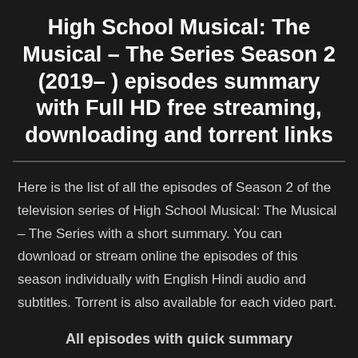High School Musical: The Musical – The Series Season 2 (2019– ) episodes summary with Full HD free streaming, downloading and torrent links
Here is the list of all the episodes of Season 2 of the television series of High School Musical: The Musical – The Series with a short summary. You can download or stream online the episodes of this season individually with English Hindi audio and subtitles. Torrent is also available for each video part.
All episodes with quick summary